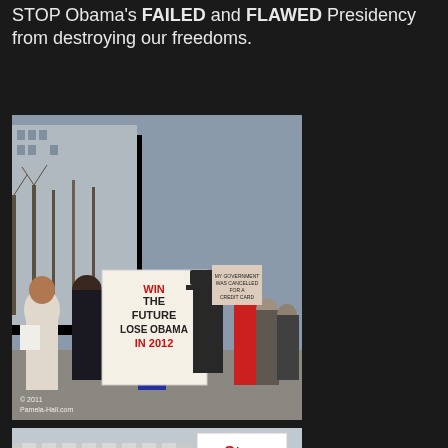STOP Obama's FAILED and FLAWED Presidency from destroying our freedoms.
[Figure (photo): Protest rally photo showing crowd of people holding signs. A woman in the foreground holds a large white sign reading 'WIN THE FUTURE LOSE OBAMA IN 2012'. Background shows other protesters with signs including one reading 'MY GOVERNMENT WAS CANCELLED FOR A CREDIT CARD'. Watermark: © 2011 Pamela-Hall.com]
[Figure (photo): Protest photo showing people near a building with columns. Signs visible include 'BALANCE' and 'Stop Spending' in red and blue text.]